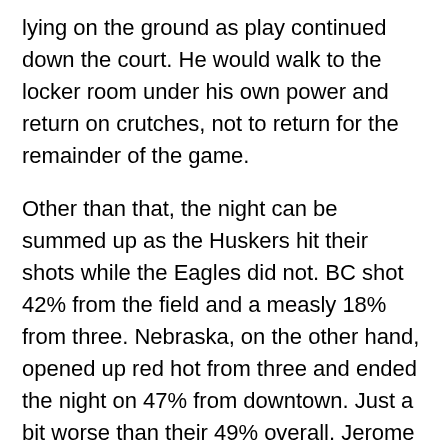lying on the ground as play continued down the court. He would walk to the locker room under his own power and return on crutches, not to return for the remainder of the game.
Other than that, the night can be summed up as the Huskers hit their shots while the Eagles did not. BC shot 42% from the field and a measly 18% from three. Nebraska, on the other hand, opened up red hot from three and ended the night on 47% from downtown. Just a bit worse than their 49% overall. Jerome Robinson may have led all scorers with 17, but it's hard to win when your starting five is 3/14 from deep.
The Eagles will hope to hear positive news on Deontae in the coming days. His presence will be missed against Hartford this Saturday, but there's little hope for